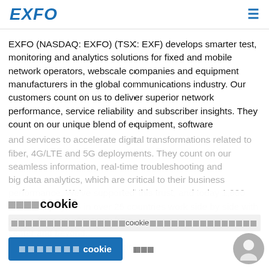EXFO
EXFO (NASDAQ: EXFO) (TSX: EXF) develops smarter test, monitoring and analytics solutions for fixed and mobile network operators, webscale companies and equipment manufacturers in the global communications industry. Our customers count on us to deliver superior network performance, service reliability and subscriber insights. They count on our unique blend of equipment, software and services to accelerate digital transformations related to fiber, 4G/LTE and 5G deployments. They count on our seamless information, real-time troubleshooting and big data analytics, which are critical to their business performance. We've supported this trust, and today 1,900 EXFO employees in over 25 countries work side by side with you — from you Anytime, from a center and beyond... and follow us on the EXFO blog.
■■■■cookie
■■■■■■■■■■■■■■■■cookie■■■■■■■■■■■■■■■■■■
■■■■■■■cookie  ■■■